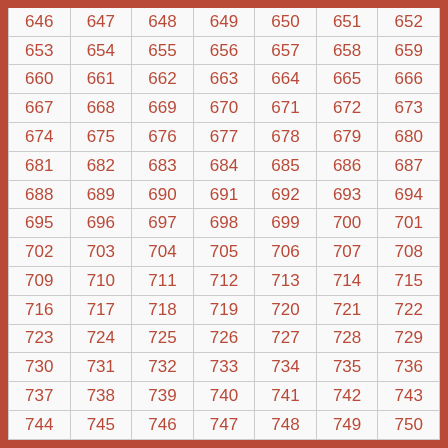| 646 | 647 | 648 | 649 | 650 | 651 | 652 |
| 653 | 654 | 655 | 656 | 657 | 658 | 659 |
| 660 | 661 | 662 | 663 | 664 | 665 | 666 |
| 667 | 668 | 669 | 670 | 671 | 672 | 673 |
| 674 | 675 | 676 | 677 | 678 | 679 | 680 |
| 681 | 682 | 683 | 684 | 685 | 686 | 687 |
| 688 | 689 | 690 | 691 | 692 | 693 | 694 |
| 695 | 696 | 697 | 698 | 699 | 700 | 701 |
| 702 | 703 | 704 | 705 | 706 | 707 | 708 |
| 709 | 710 | 711 | 712 | 713 | 714 | 715 |
| 716 | 717 | 718 | 719 | 720 | 721 | 722 |
| 723 | 724 | 725 | 726 | 727 | 728 | 729 |
| 730 | 731 | 732 | 733 | 734 | 735 | 736 |
| 737 | 738 | 739 | 740 | 741 | 742 | 743 |
| 744 | 745 | 746 | 747 | 748 | 749 | 750 |